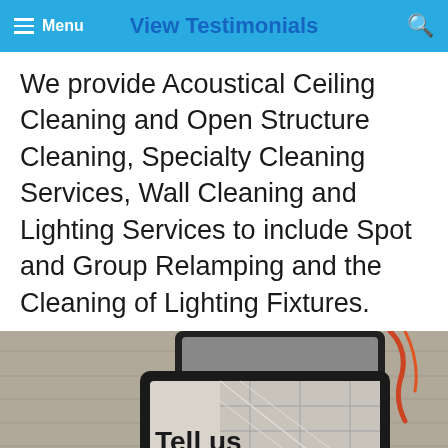View Testimonials | Menu
We provide Acoustical Ceiling Cleaning and Open Structure Cleaning, Specialty Cleaning Services, Wall Cleaning and Lighting Services to include Spot and Group Relamping and the Cleaning of Lighting Fixtures.
[Figure (photo): Composite image showing tablets/devices on a wooden surface with blueprints and ceiling tile images, overlaid with text 'Tell us about']